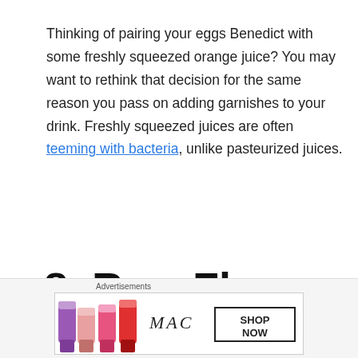Thinking of pairing your eggs Benedict with some freshly squeezed orange juice? You may want to rethink that decision for the same reason you pass on adding garnishes to your drink. Freshly squeezed juices are often teeming with bacteria, unlike pasteurized juices.
8. Raw Flour Products
[Figure (other): Advertisement banner for MAC cosmetics showing lipsticks and SHOP NOW call to action]